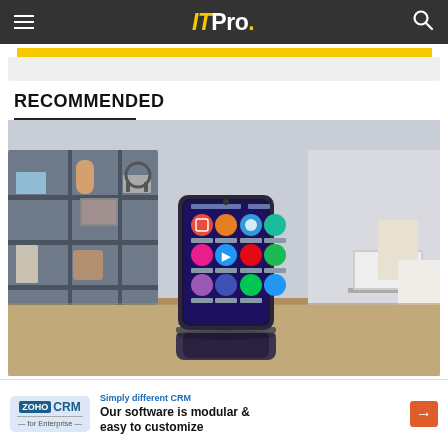ITPro.
RECOMMENDED
[Figure (photo): A Samsung Galaxy Z Flip foldable smartphone propped open on a wooden desk with its colorful app icons visible on screen, with a blurry shelving unit in the background]
Simply different CRM - Our software is modular & easy to customize